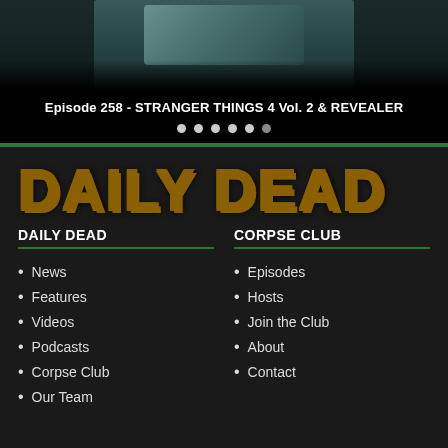[Figure (photo): Hero image showing partial figure/person on dark background]
Episode 258 - STRANGER THINGS 4 Vol. 2 & REVEALER
[Figure (other): Navigation dots row with 6 dots]
[Figure (logo): Daily Dead logo in yellow distressed grunge text]
DAILY DEAD
CORPSE CLUB
News
Features
Videos
Podcasts
Corpse Club
Our Team
Episodes
Hosts
Join the Club
About
Contact